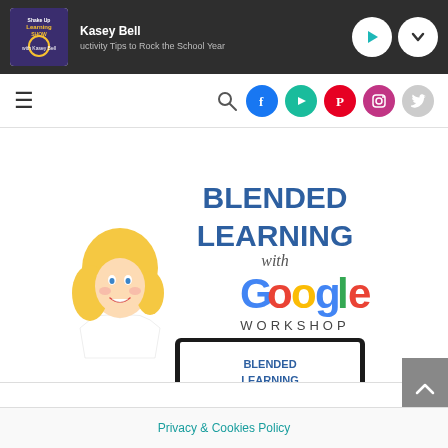[Figure (screenshot): Podcast player bar showing Kasey Bell - Shake Up Learning Show with title 'uctivity Tips to Rock the School Year' with play and dropdown buttons]
[Figure (screenshot): Navigation bar with hamburger menu, search icon, and social media icons (Facebook, YouTube, Pinterest, Instagram, Twitter)]
[Figure (illustration): Blended Learning with Google Workshop banner featuring cartoon female character with blonde hair and multiple device mockups showing the Blended Learning with Google Workshop branding]
[Figure (screenshot): Scroll-to-top button on right side]
Privacy & Cookies Policy